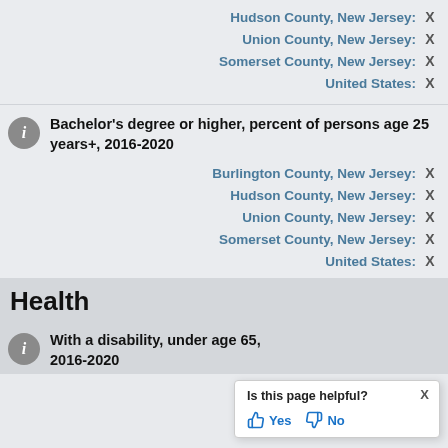Hudson County, New Jersey: X
Union County, New Jersey: X
Somerset County, New Jersey: X
United States: X
Bachelor's degree or higher, percent of persons age 25 years+, 2016-2020
Burlington County, New Jersey: X
Hudson County, New Jersey: X
Union County, New Jersey: X
Somerset County, New Jersey: X
United States: X
Health
With a disability, under age 65, 2016-2020
Is this page helpful? Yes No